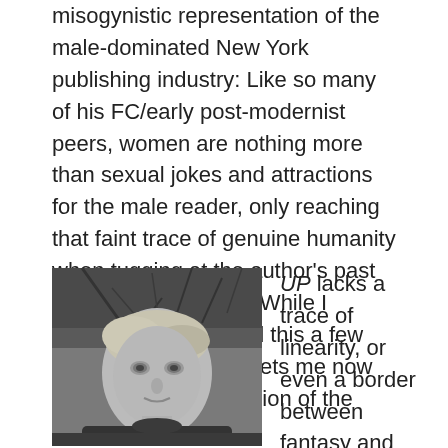misogynistic representation of the male-dominated New York publishing industry: Like so many of his FC/early post-modernist peers, women are nothing more than sexual jokes and attractions for the male reader, only reaching that faint trace of genuine humanity when tugging at the author's past regrets and failures. (While I wouldn't have minded this a few years ago, it only upsets me now and hurts my impression of the book.)
[Figure (photo): Black and white photograph of a man with light, side-parted hair, wearing a dark turtleneck, photographed outdoors with bare tree branches in the background.]
UP lacks a trace of linearity, or even a border between fantasy and reality; flowing back and forth, sometimes mid-paragraph, between times, fantasies,